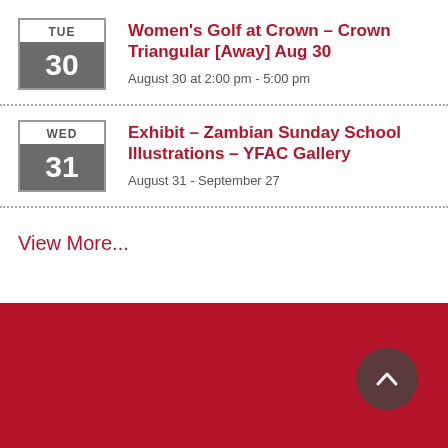TUE 30 — Women's Golf at Crown – Crown Triangular [Away] Aug 30
August 30 at 2:00 pm - 5:00 pm
WED 31 — Exhibit – Zambian Sunday School Illustrations – YFAC Gallery
August 31 - September 27
View More...